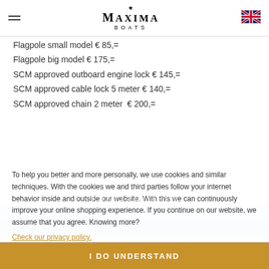Maxima Boats
Flagpole small model € 85,=
Flagpole big model € 175,=
SCM approved outboard engine lock € 145,=
SCM approved cable lock 5 meter € 140,=
SCM approved chain 2 meter  € 200,=
To help you better and more personally, we use cookies and similar techniques. With the cookies we and third parties follow your internet behavior inside and outside our website. With this we can continuously improve your online shopping experience. If you continue on our website, we assume that you agree. Knowing more?
Check our privacy policy.
I DO UNDERSTAND